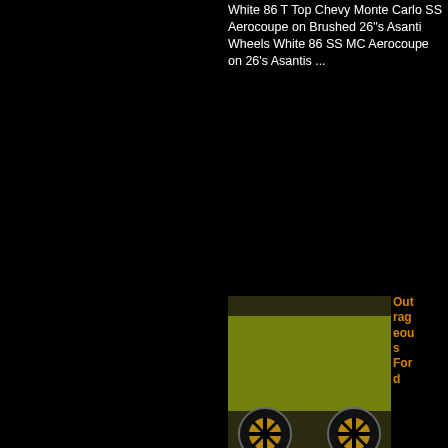White 86 T Top Chevy Monte Carlo SS Aerocoupe on Brushed 26"s Asanti Wheels White 86 SS MC Aerocoupe on 26's Asantis ...
[Figure (photo): Yellow and green Ford Mustang with gold/black DUB wheels, doors open, at a car show]
Outrageous Ford Mustang on 30" DUB Ballers
Outrageous Ford Mustang on 30" DUB Ballers Outrageous Mustang on 30's DUBs  A New HIT in the Mustang game  ...
[Figure (photo): Blue muscle car (Chevrolet Camaro) on large chrome wheels in parking lot]
First in the World ...
[Figure (photo): Close-up of blue car front wheel and bumper on large chrome wheel]
Blue-R
[Figure (photo): Blue SUV/car on large chrome wheels in parking lot with AceWhips.NET watermark]